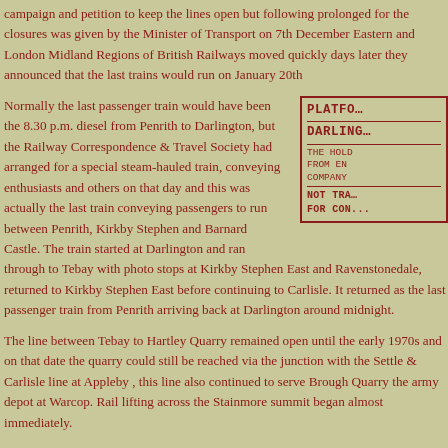campaign and petition to keep the lines open but following prolonged negotiations the consent for the closures was given by the Minister of Transport on 7th December 1961. The North Eastern and London Midland Regions of British Railways moved quickly and only a few days later they announced that the last trains would run on January 20th 1962.
Normally the last passenger train would have been the 8.30 p.m. diesel from Penrith to Darlington, but the Railway Correspondence & Travel Society had arranged for a special steam-hauled train, conveying enthusiasts and others on that day and this was actually the last train conveying passengers to run between Penrith, Kirkby Stephen and Barnard Castle. The train started at Darlington and ran through to Tebay with photo stops at Kirkby Stephen East and Ravenstonedale, it then returned to Kirkby Stephen East before continuing to Carlisle. It returned as the last passenger train from Penrith arriving back at Darlington around midnight.
[Figure (other): A partially visible railway platform ticket or travel document with text: PLATFO..., DARLING..., THE HOLD, FROM EN, COMPAN, NOT TR..., FOR CON...]
The line between Tebay to Hartley Quarry remained open until the early 1970s and on that date the quarry could still be reached via the junction with the Settle & Carlisle line at Appleby, this line also continued to serve Brough Quarry the army depot at Warcop. Rail lifting across the Stainmore summit began almost immediately.
Although the line between Darlington and Barnard Castle remained open together with the branch to Middleton in Teesdale it was only a temporary reprieve as these lines were proposed for closure under the Beeching cuts closing to passengers on 30th November 1964...